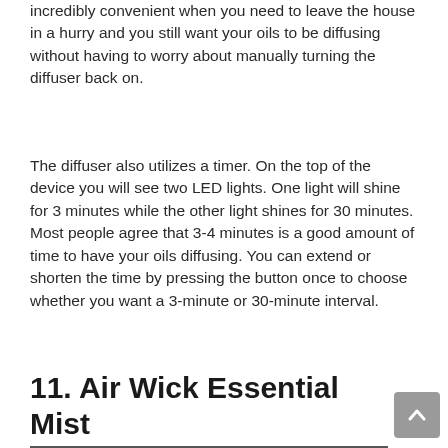incredibly convenient when you need to leave the house in a hurry and you still want your oils to be diffusing without having to worry about manually turning the diffuser back on.
The diffuser also utilizes a timer. On the top of the device you will see two LED lights. One light will shine for 3 minutes while the other light shines for 30 minutes. Most people agree that 3-4 minutes is a good amount of time to have your oils diffusing. You can extend or shorten the time by pressing the button once to choose whether you want a 3-minute or 30-minute interval.
11. Air Wick Essential Mist